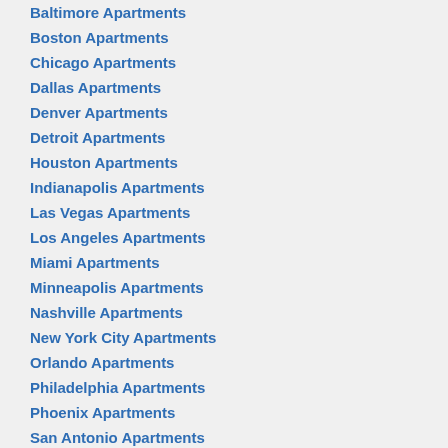Baltimore Apartments
Boston Apartments
Chicago Apartments
Dallas Apartments
Denver Apartments
Detroit Apartments
Houston Apartments
Indianapolis Apartments
Las Vegas Apartments
Los Angeles Apartments
Miami Apartments
Minneapolis Apartments
Nashville Apartments
New York City Apartments
Orlando Apartments
Philadelphia Apartments
Phoenix Apartments
San Antonio Apartments